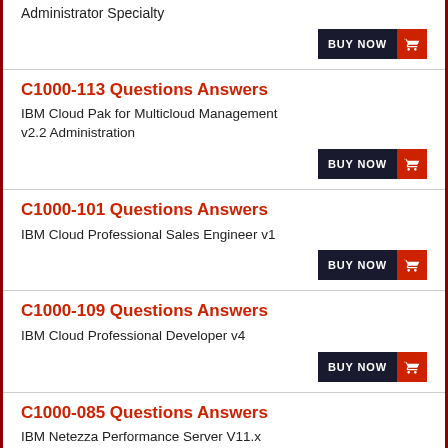Administrator Specialty
BUY NOW
C1000-113 Questions Answers
IBM Cloud Pak for Multicloud Management v2.2 Administration
BUY NOW
C1000-101 Questions Answers
IBM Cloud Professional Sales Engineer v1
BUY NOW
C1000-109 Questions Answers
IBM Cloud Professional Developer v4
BUY NOW
C1000-085 Questions Answers
IBM Netezza Performance Server V11.x Administrator
BUY NOW